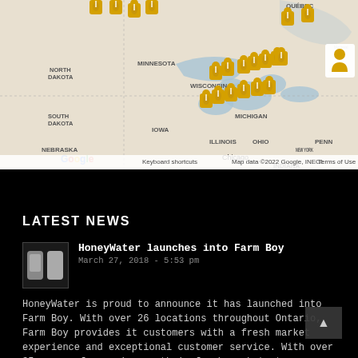[Figure (map): Google Map showing northeastern United States and southeastern Canada with yellow bottle/pin markers clustered around the Great Lakes region (Michigan, Ohio, New York, Ontario). States labeled include Minnesota, Wisconsin, Michigan, Iowa, Illinois, Indiana, Ohio, Penn, Nebraska, North Dakota, South Dakota. Cities include Chicago, New York, Montreal. Map controls show + and - zoom buttons and a person/street-view icon.]
Keyboard shortcuts  Map data ©2022 Google, INEGI  Terms of Use
LATEST NEWS
HoneyWater launches into Farm Boy
March 27, 2018 - 5:53 pm
HoneyWater is proud to announce it has launched into Farm Boy. With over 26 locations throughout Ontario, Farm Boy provides it customers with a fresh market experience and exceptional customer service. With over 35 years of experience, their fresh market stores are brimming with wholesome, healthy, tasty food choices for you and your family and [...]